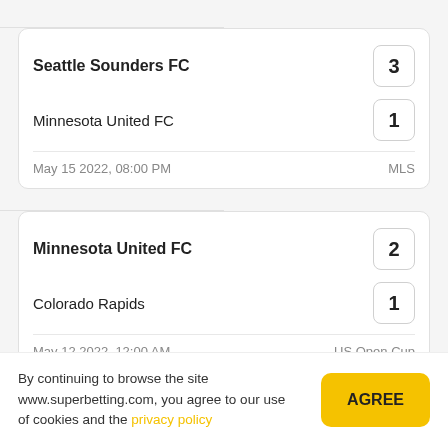| Team | Score |
| --- | --- |
| Seattle Sounders FC | 3 |
| Minnesota United FC | 1 |
| May 15 2022, 08:00 PM | MLS |
| Team | Score |
| --- | --- |
| Minnesota United FC | 2 |
| Colorado Rapids | 1 |
| May 12 2022, 12:00 AM | US Open Cup |
| Team | Score |
| --- | --- |
| Minnesota United FC | 0 |
By continuing to browse the site www.superbetting.com, you agree to our use of cookies and the privacy policy